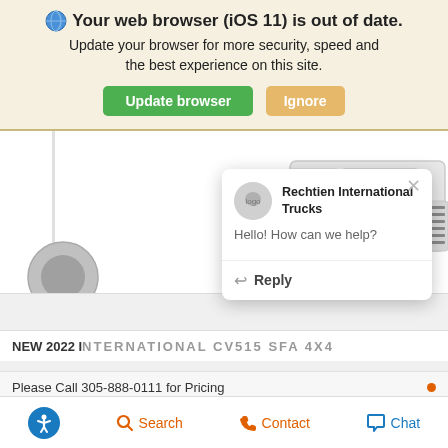Your web browser (iOS 11) is out of date. Update your browser for more security, speed and the best experience on this site. Update browser | Ignore
[Figure (screenshot): Partial view of a white commercial truck (cab and front wheel visible) on a white background, part of a vehicle listing page]
[Figure (screenshot): Chat popup from Rechtien International Trucks with logo, greeting 'Hello! How can we help?' and a Reply button, with a close X button]
NEW 2022 INTERNATIONAL CV515 SFA 4X4
Please Call 305-888-0111 for Pricing
Accessibility icon | Search | Contact | Chat